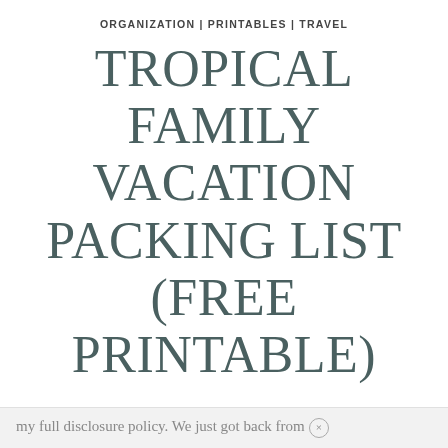ORGANIZATION | PRINTABLES | TRAVEL
TROPICAL FAMILY VACATION PACKING LIST (FREE PRINTABLE)
This packing list printable for a tropical family vacation is the perfect list for packing for your next vacation. This post contains affiliate links for your shopping convenience. Click to read
my full disclosure policy. We just got back from